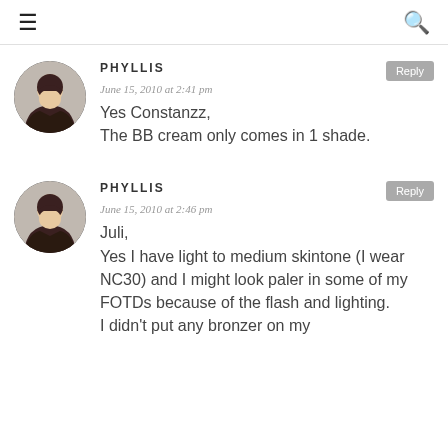≡  🔍
PHYLLIS
June 15, 2010 at 2:41 pm
Yes Constanzz,
The BB cream only comes in 1 shade.
PHYLLIS
June 15, 2010 at 2:46 pm
Juli,
Yes I have light to medium skintone (I wear NC30) and I might look paler in some of my FOTDs because of the flash and lighting.
I didn't put any bronzer on my